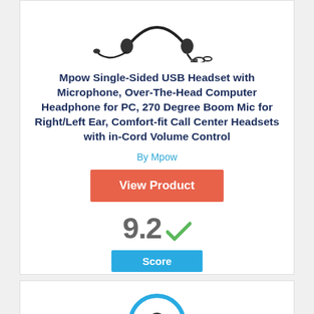[Figure (photo): Mpow single-sided USB headset product photo showing headset with microphone boom and USB connector]
Mpow Single-Sided USB Headset with Microphone, Over-The-Head Computer Headphone for PC, 270 Degree Boom Mic for Right/Left Ear, Comfort-fit Call Center Headsets with in-Cord Volume Control
By Mpow
View Product
9.2 Score
[Figure (illustration): Partial circular icon visible at bottom of page, blue circle with dark center element]